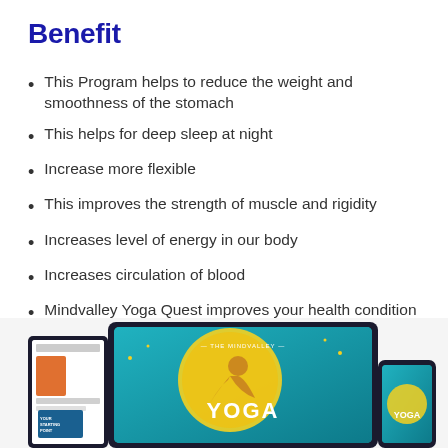Benefit
This Program helps to reduce the weight and smoothness of the stomach
This helps for deep sleep at night
Increase more flexible
This improves the strength of muscle and rigidity
Increases level of energy in our body
Increases circulation of blood
Mindvalley Yoga Quest improves your health condition
[Figure (photo): Tablet, phone and other devices showing Mindvalley Yoga Quest program screens with teal/orange yoga imagery and 'THE MINDVALLEY YOGA' text visible]